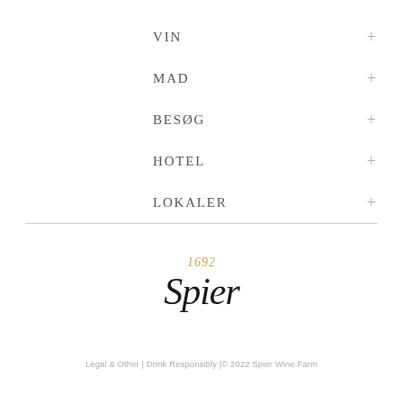VIN
MAD
BESØG
HOTEL
LOKALER
[Figure (logo): Spier 1692 wine farm logo - cursive handwritten 'Spier' text in black with '1692' in gold/amber above]
Legal & Other  |   Drink Responsibly |© 2022 Spier Wine Farm